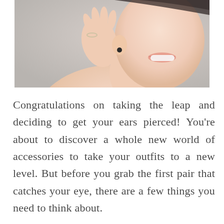[Figure (photo): A smiling woman putting on an earring, shown from the shoulders up. She has light skin, a bright smile, and is wearing a ring. The background is a soft gray.]
Congratulations on taking the leap and deciding to get your ears pierced! You're about to discover a whole new world of accessories to take your outfits to a new level. But before you grab the first pair that catches your eye, there are a few things you need to think about.